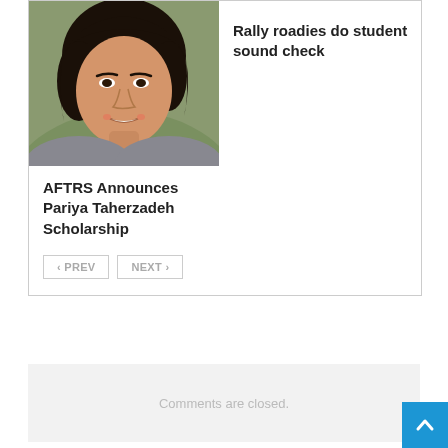[Figure (photo): Portrait photo of a young woman with dark hair, smiling, outdoors with blurred green background]
AFTRS Announces Pariya Taherzadeh Scholarship
Rally roadies do student sound check
< PREV   NEXT >
Comments are closed.
Categories
Audio Mixing Consoles
Audio Production